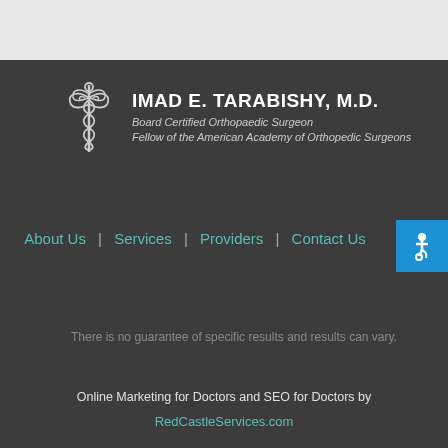[Figure (logo): Caduceus medical symbol with doctor name and credentials: IMAD E. TARABISHY, M.D., Board Certified Orthopaedic Surgeon, Fellow of the American Academy of Orthopedic Surgeons]
About Us | Services | Providers | Contact Us
[Figure (other): Accessibility icon button (wheelchair symbol) in blue square]
There is no guarantee of specific results and results can vary.
Online Marketing for Doctors and SEO for Doctors by
RedCastleServices.com